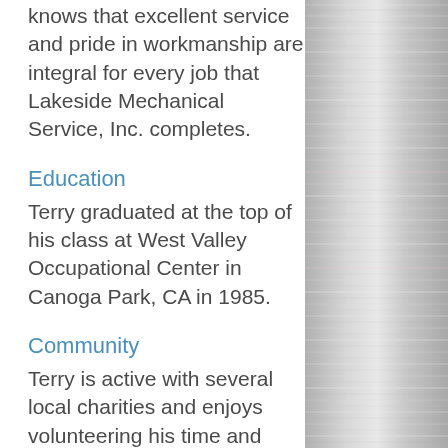knows that excellent service and pride in workmanship are integral for every job that Lakeside Mechanical Service, Inc. completes.
Education
Terry graduated at the top of his class at West Valley Occupational Center in Canoga Park, CA in 1985.
Community
Terry is active with several local charities and enjoys volunteering his time and knowledge with Colorado Youth Outdoors and Outdoor Buddies. Terry has
[Figure (photo): Brushed metal or silver textured background panel on the right side of the page]